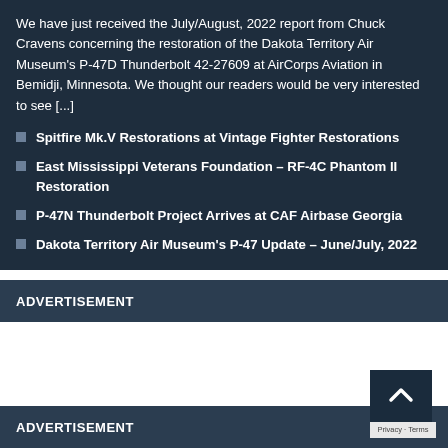We have just received the July/August, 2022 report from Chuck Cravens concerning the restoration of the Dakota Territory Air Museum's P-47D Thunderbolt 42-27609 at AirCorps Aviation in Bemidji, Minnesota. We thought our readers would be very interested to see [...]
Spitfire Mk.V Restorations at Vintage Fighter Restorations
East Mississippi Veterans Foundation – RF-4C Phantom II Restoration
P-47N Thunderbolt Project Arrives at CAF Airbase Georgia
Dakota Territory Air Museum's P-47 Update – June/July, 2022
ADVERTISEMENT
ADVERTISEMENT